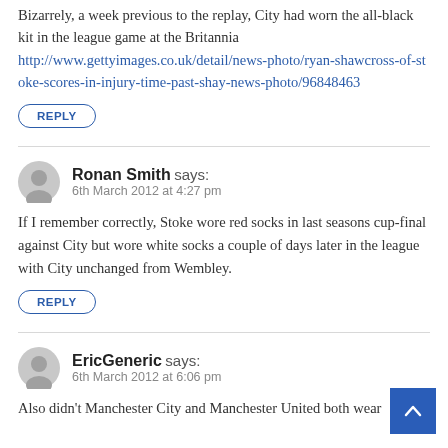Bizarrely, a week previous to the replay, City had worn the all-black kit in the league game at the Britannia http://www.gettyimages.co.uk/detail/news-photo/ryan-shawcross-of-stoke-scores-in-injury-time-past-shay-news-photo/96848463
REPLY
Ronan Smith says: 6th March 2012 at 4:27 pm
If I remember correctly, Stoke wore red socks in last seasons cup-final against City but wore white socks a couple of days later in the league with City unchanged from Wembley.
REPLY
EricGeneric says: 6th March 2012 at 6:06 pm
Also didn't Manchester City and Manchester United both wear